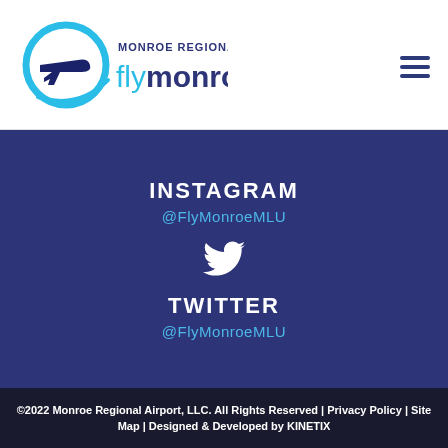[Figure (logo): Monroe Regional Airport flymonroe logo with circular airplane icon in teal/blue]
INSTAGRAM
@FlyMonroeMLU
[Figure (illustration): Twitter bird icon in white]
TWITTER
@FlyMonroeMLU
©2022 Monroe Regional Airport, LLC. All Rights Reserved | Privacy Policy | Site Map | Designed & Developed by KINETIX